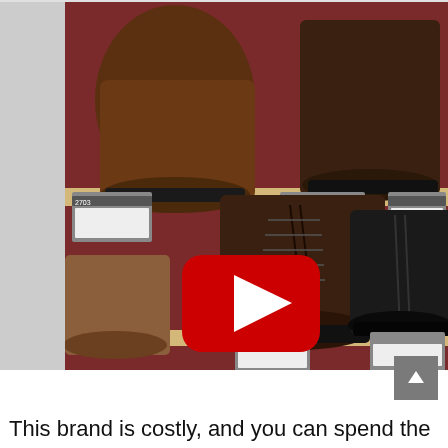[Figure (photo): Photo of work boots displayed on shelves in a shoe store with price tags. A YouTube play button overlay is visible in the center of the image.]
This brand is costly, and you can spend the